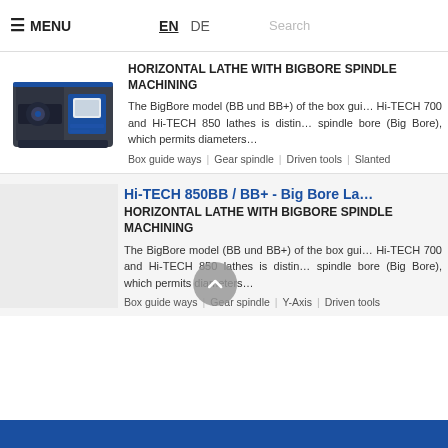≡ MENU   EN  DE   Search
[Figure (photo): Industrial horizontal CNC lathe machine, dark grey/blue color]
HORIZONTAL LATHE WITH BIGBORE SPINDLE FOR MACHINING
The BigBore model (BB und BB+) of the box guide Hi-TECH 700 and Hi-TECH 850 lathes is distinguished by a larger spindle bore (Big Bore), which permits diameters...
Box guide ways | Gear spindle | Driven tools | Slanted...
Hi-TECH 850BB / BB+ - Big Bore La...
HORIZONTAL LATHE WITH BIGBORE SPINDLE MACHINING
The BigBore model (BB und BB+) of the box guide Hi-TECH 700 and Hi-TECH 850 lathes is distinguished by a larger spindle bore (Big Bore), which permits diameters...
Box guide ways | Gear spindle | Y-Axis | Driven tools...